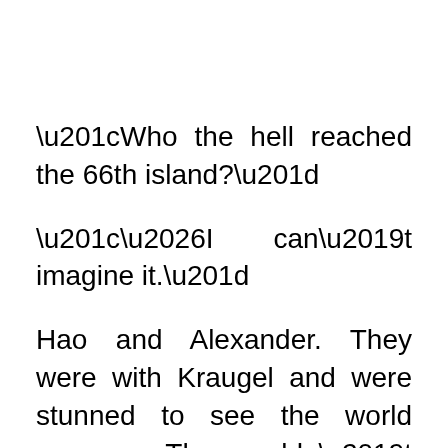“Who the hell reached the 66th island?”
“…I can’t imagine it.”
Hao and Alexander. They were with Kraugel and were stunned to see the world message. They couldn’t imagine that someone other Kraugel had managed to